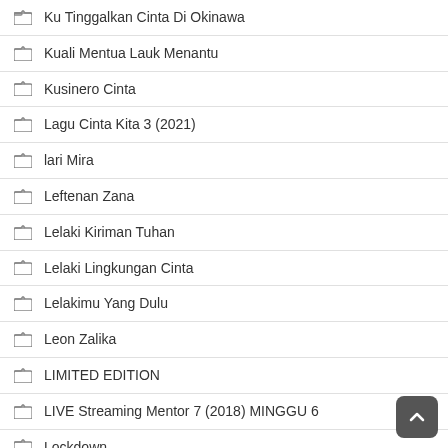Ku Tinggalkan Cinta Di Okinawa
Kuali Mentua Lauk Menantu
Kusinero Cinta
Lagu Cinta Kita 3 (2021)
lari Mira
Leftenan Zana
Lelaki Kiriman Tuhan
Lelaki Lingkungan Cinta
Lelakimu Yang Dulu
Leon Zalika
LIMITED EDITION
LIVE Streaming Mentor 7 (2018) MINGGU 6
Lockdown
Love Elsa